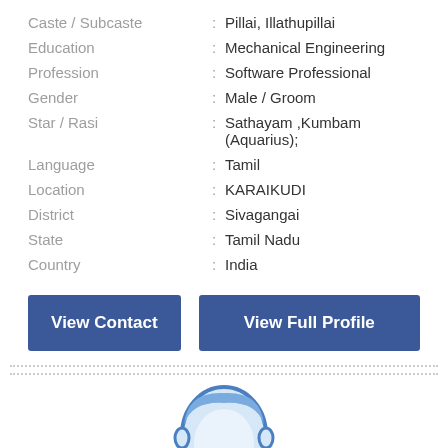Caste / Subcaste : Pillai, Illathupillai
Education : Mechanical Engineering
Profession : Software Professional
Gender : Male / Groom
Star / Rasi : Sathayam ,Kumbam (Aquarius);
Language : Tamil
Location : KARAIKUDI
District : Sivagangai
State : Tamil Nadu
Country : India
[Figure (illustration): Male avatar/placeholder profile image illustration in blue outline style]